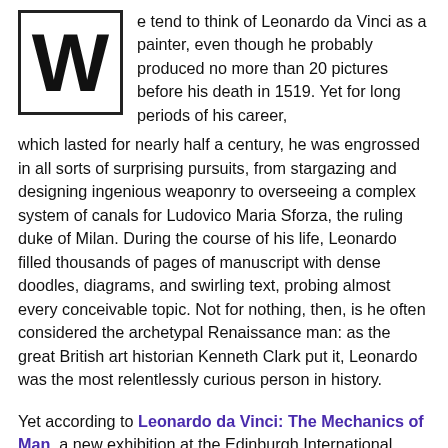We tend to think of Leonardo da Vinci as a painter, even though he probably produced no more than 20 pictures before his death in 1519. Yet for long periods of his career, which lasted for nearly half a century, he was engrossed in all sorts of surprising pursuits, from stargazing and designing ingenious weaponry to overseeing a complex system of canals for Ludovico Maria Sforza, the ruling duke of Milan. During the course of his life, Leonardo filled thousands of pages of manuscript with dense doodles, diagrams, and swirling text, probing almost every conceivable topic. Not for nothing, then, is he often considered the archetypal Renaissance man: as the great British art historian Kenneth Clark put it, Leonardo was the most relentlessly curious person in history.
Yet according to Leonardo da Vinci: The Mechanics of Man, a new exhibition at the Edinburgh International Festival, one area of scientific endeavour piqued Leonardo's curiosity more than any other: the human body.